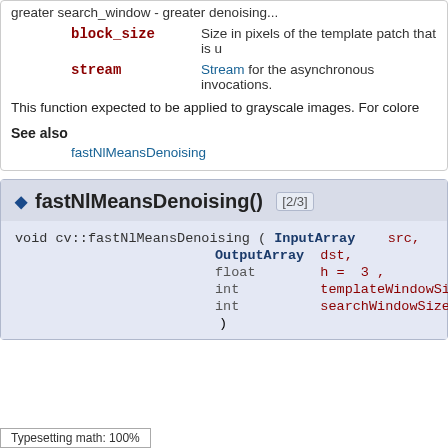block_size — Size in pixels of the template patch that is u
stream — Stream for the asynchronous invocations.
This function expected to be applied to grayscale images. For colore
See also
fastNlMeansDenoising
◆ fastNlMeansDenoising() [2/3]
void cv::fastNlMeansDenoising ( InputArray src, OutputArray dst, float h = 3 , int templateWindowSize int searchWindowSize = )